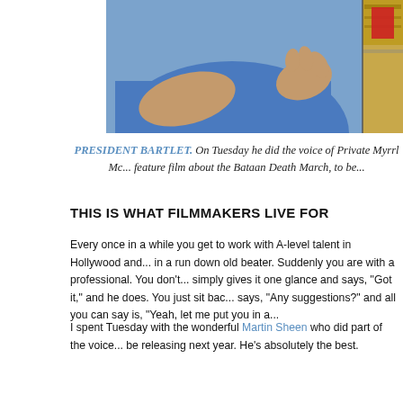[Figure (photo): Photo of a person in a blue shirt with hand gesturing, partial view of boxes/shelving in background on right side]
PRESIDENT BARTLET. On Tuesday he did the voice of Private Myrrl Mc... feature film about the Bataan Death March, to be...
THIS IS WHAT FILMMAKERS LIVE FOR
Every once in a while you get to work with A-level talent in Hollywood and... in a run down old beater. Suddenly you are with a professional. You don't... simply gives it one glance and says, "Got it," and he does. You just sit bac... says, "Any suggestions?" and all you can say is, "Yeah, let me put you in a...
I spent Tuesday with the wonderful Martin Sheen who did part of the voice... be releasing next year. He's absolutely the best.